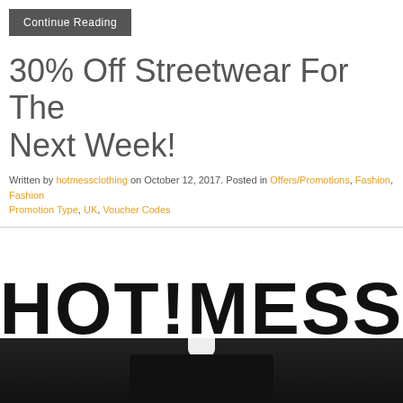Continue Reading
30% Off Streetwear For The Next Week!
Written by hotmessclothing on October 12, 2017. Posted in Offers/Promotions, Fashion, Fashion Promotion Type, UK, Voucher Codes
[Figure (logo): HOT!MESS brand logo in large bold black uppercase letters]
[Figure (photo): Bottom strip showing a person wearing a black outfit against a grey background]